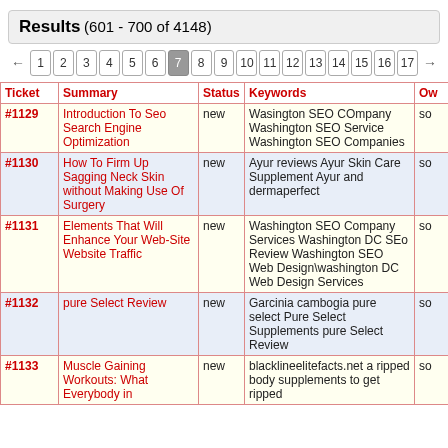Results (601 - 700 of 4148)
← 1 2 3 4 5 6 7 8 9 10 11 12 13 14 15 16 17 →
| Ticket | Summary | Status | Keywords | Ow |
| --- | --- | --- | --- | --- |
| #1129 | Introduction To Seo Search Engine Optimization | new | Wasington SEO COmpany Washington SEO Service Washington SEO Companies | so |
| #1130 | How To Firm Up Sagging Neck Skin without Making Use Of Surgery | new | Ayur reviews Ayur Skin Care Supplement Ayur and dermaperfect | so |
| #1131 | Elements That Will Enhance Your Web-Site Website Traffic | new | Washington SEO Company Services Washington DC SEo Review Washington SEO Web Design\washington DC Web Design Services | so |
| #1132 | pure Select Review | new | Garcinia cambogia pure select Pure Select Supplements pure Select Review | so |
| #1133 | Muscle Gaining Workouts: What Everybody in | new | blacklineelitefacts.net a ripped body supplements to get ripped | so |